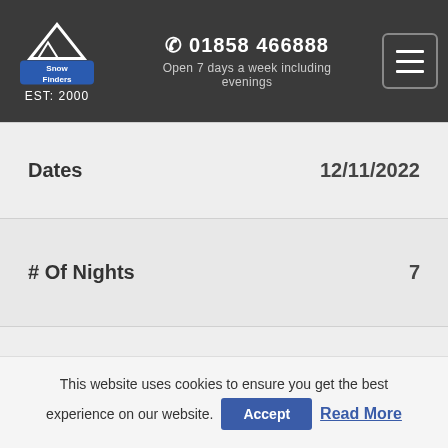[Figure (logo): Snow Finders logo with mountain silhouette icon and EST: 2000 text]
01858 466888 Open 7 days a week including evenings
| Dates | 12/11/2022 |
| # Of Nights | 7 |
| Flights Included? | Yes (BRS) |
This website uses cookies to ensure you get the best experience on our website. Accept Read More